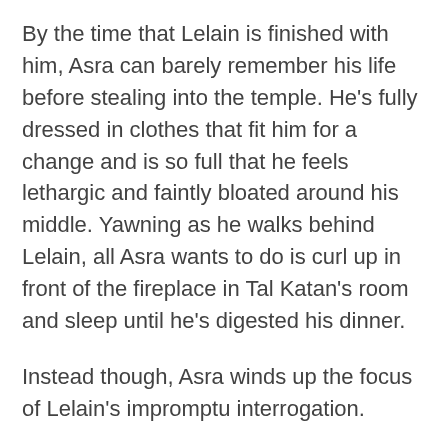By the time that Lelain is finished with him, Asra can barely remember his life before stealing into the temple. He's fully dressed in clothes that fit him for a change and is so full that he feels lethargic and faintly bloated around his middle. Yawning as he walks behind Lelain, all Asra wants to do is curl up in front of the fireplace in Tal Katan's room and sleep until he's digested his dinner.
Instead though, Asra winds up the focus of Lelain's impromptu interrogation.
“You’re an Outlander, aren’t you?” Lelain asks over xer shoulder as xe leads Asra down another winding hallway in the underground parts of the temple. At Asra’s taken-aback look, Lelain smiles. “You still have the accent, I think. And the last time I saw one